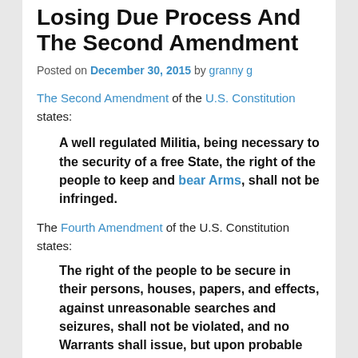Losing Due Process And The Second Amendment
Posted on December 30, 2015 by granny g
The Second Amendment of the U.S. Constitution states:
A well regulated Militia, being necessary to the security of a free State, the right of the people to keep and bear Arms, shall not be infringed.
The Fourth Amendment of the U.S. Constitution states:
The right of the people to be secure in their persons, houses, papers, and effects, against unreasonable searches and seizures, shall not be violated, and no Warrants shall issue, but upon probable cause, supported by Oath or affirmation, and particularly describing the place to be searched, and the persons or things to be seized.